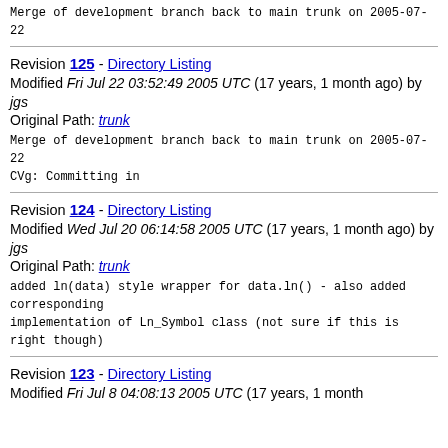Merge of development branch back to main trunk on 2005-07-22
Revision 125 - Directory Listing
Modified Fri Jul 22 03:52:49 2005 UTC (17 years, 1 month ago) by jgs
Original Path: trunk
Merge of development branch back to main trunk on 2005-07-22
CVg: Committing in
Revision 124 - Directory Listing
Modified Wed Jul 20 06:14:58 2005 UTC (17 years, 1 month ago) by jgs
Original Path: trunk
added ln(data) style wrapper for data.ln() - also added corresponding
implementation of Ln_Symbol class (not sure if this is right though)
Revision 123 - Directory Listing
Modified Fri Jul 8 04:08:13 2005 UTC (17 years, 1 month